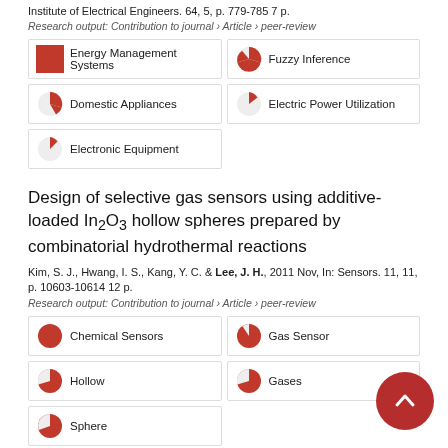Institute of Electrical Engineers. 64, 5, p. 779-785 7 p.
Research output: Contribution to journal › Article › peer-review
[Figure (infographic): Keyword badges with pie chart icons showing percentage fill: Energy Management Systems (100%), Fuzzy Inference (~45%), Domestic Appliances (~25%), Electric Power Utilization (~12%), Electronic Equipment (~10%)]
Design of selective gas sensors using additive-loaded In2O3 hollow spheres prepared by combinatorial hydrothermal reactions
Kim, S. J., Hwang, I. S., Kang, Y. C. & Lee, J. H., 2011 Nov, In: Sensors. 11, 11, p. 10603-10614 12 p.
Research output: Contribution to journal › Article › peer-review
[Figure (infographic): Keyword badges with pie chart icons showing percentage fill: Chemical Sensors (100%), Gas Sensor (~90%), Hollow (~80%), Gases (~80%), Sphere (~78%)]